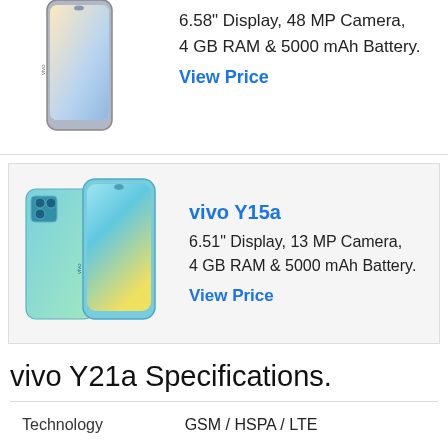[Figure (photo): Partial view of a smartphone (vivo model) shown at top of page, cropped]
6.58" Display, 48 MP Camera, 4 GB RAM & 5000 mAh Battery.
View Price
[Figure (photo): vivo Y15a smartphone shown from front and back in teal/blue color]
vivo Y15a
6.51" Display, 13 MP Camera, 4 GB RAM & 5000 mAh Battery.
View Price
vivo Y21a Specifications.
|  |  |
| --- | --- |
| Technology | GSM / HSPA / LTE |
| Annouced | 2022, January 22 |
| Status | Coming soon. Exp. release |